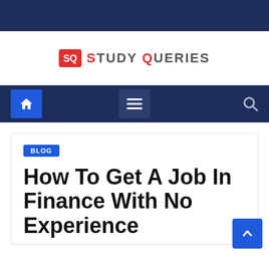[Figure (logo): Study Queries logo with red SQ icon and text STUDY QUERIES]
[Figure (screenshot): Navigation bar with home button, hamburger menu, and search icon on dark blue background]
BLOG
How To Get A Job In Finance With No Experience